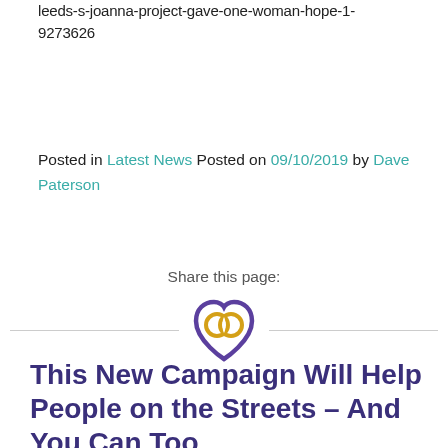leeds-s-joanna-project-gave-one-woman-hope-1-9273626
Posted in Latest News Posted on 09/10/2019 by Dave Paterson
Share this page:
[Figure (logo): Organization logo: a heart shape with overlapping ring/loop design in purple and gold/yellow]
This New Campaign Will Help People on the Streets – And You Can Too